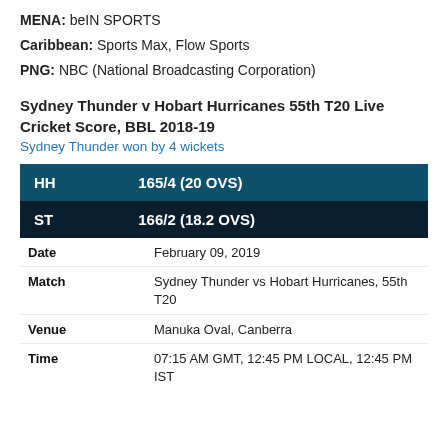MENA: beIN SPORTS
Caribbean: Sports Max, Flow Sports
PNG: NBC (National Broadcasting Corporation)
Sydney Thunder v Hobart Hurricanes 55th T20 Live Cricket Score, BBL 2018-19
Sydney Thunder won by 4 wickets
| Team | Score |
| --- | --- |
| HH | 165/4 (20 OVS) |
| ST | 166/2 (18.2 OVS) |
| Field | Value |
| --- | --- |
| Date | February 09, 2019 |
| Match | Sydney Thunder vs Hobart Hurricanes, 55th T20 |
| Venue | Manuka Oval, Canberra |
| Time | 07:15 AM GMT, 12:45 PM LOCAL, 12:45 PM IST |